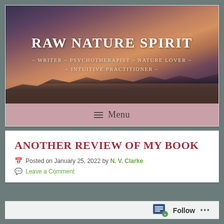[Figure (screenshot): Blog header banner image for 'Raw Nature Spirit' showing a dramatic landscape with mountains, water reflection, and sunset sky in purple, orange, and brown tones. White text overlaid reads 'RAW NATURE SPIRIT' and '~ WRITER ~ PSYCHOTHERAPIST ~ NATURE LOVER ~ INTUITIVE PRACTITIONER ~']
Menu
ANOTHER REVIEW OF MY BOOK
Posted on January 25, 2022 by N. V. Clarke
Leave a Comment